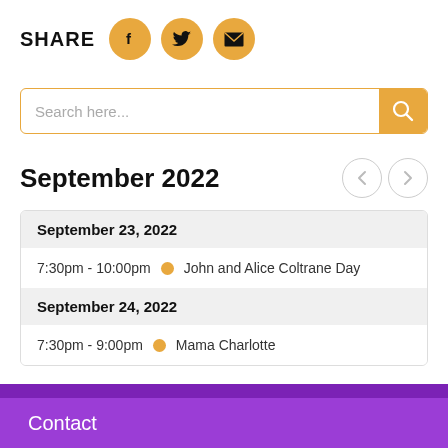SHARE
[Figure (illustration): Three orange circular social share buttons: Facebook (f), Twitter (bird), Email (envelope)]
[Figure (screenshot): Search input field with placeholder 'Search here...' and an orange search button with magnifying glass icon]
September 2022
| September 23, 2022 |
| 7:30pm - 10:00pm | John and Alice Coltrane Day |
| September 24, 2022 |
| 7:30pm - 9:00pm | Mama Charlotte |
Contact